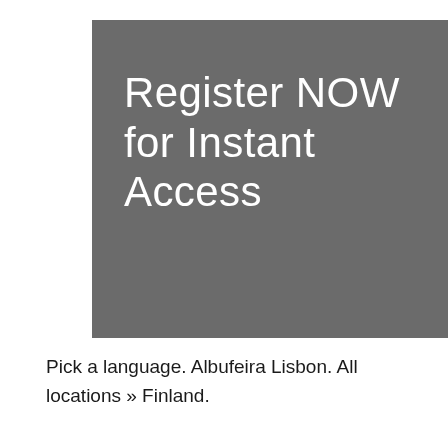Register NOW for Instant Access
Pick a language. Albufeira Lisbon. All locations » Finland.